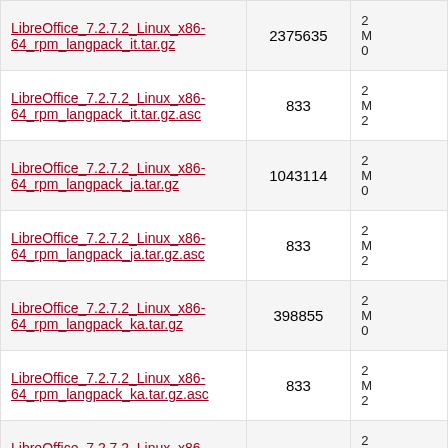| Filename | Size | Date |
| --- | --- | --- |
| LibreOffice_7.2.7.2_Linux_x86-64_rpm_langpack_it.tar.gz | 2375635 | 2 M 0 |
| LibreOffice_7.2.7.2_Linux_x86-64_rpm_langpack_it.tar.gz.asc | 833 | 2 M 2 |
| LibreOffice_7.2.7.2_Linux_x86-64_rpm_langpack_ja.tar.gz | 1043114 | 2 M 0 |
| LibreOffice_7.2.7.2_Linux_x86-64_rpm_langpack_ja.tar.gz.asc | 833 | 2 M 2 |
| LibreOffice_7.2.7.2_Linux_x86-64_rpm_langpack_ka.tar.gz | 398855 | 2 M 0 |
| LibreOffice_7.2.7.2_Linux_x86-64_rpm_langpack_ka.tar.gz.asc | 833 | 2 M 2 |
| LibreOffice_7.2.7.2_Linux_x86-64_rpm_langpack_kab.tar.gz | 633599 | 2 M 0 |
| LibreOffice_7.2.7.2_Linux_x86-64_rpm_langpack_kab.tar.gz.asc | 833 | 2 M |